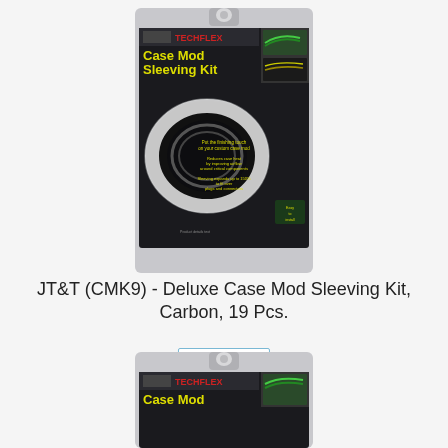[Figure (photo): Product photo of Techflex Case Mod Sleeving Kit in retail blister packaging against dark background. Package shows coiled black sleeving with yellow text describing product features.]
JT&T (CMK9) - Deluxe Case Mod Sleeving Kit, Carbon, 19 Pcs.
View
[Figure (photo): Partial product photo of second Techflex Case Mod Sleeving Kit in retail blister packaging, cropped to show only top portion of package with Techflex logo and 'Case Mod' text.]